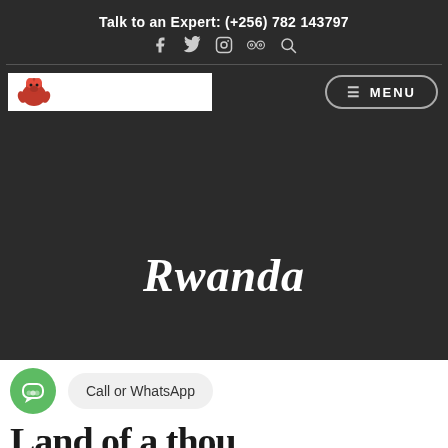Talk to an Expert: (+256) 782 143797
[Figure (logo): Social media icons: Facebook, Twitter, Instagram, TripAdvisor, and Search icon in dark header bar]
[Figure (logo): Travel company logo with red gorilla graphic on white background]
≡ MENU
Rwanda
Call or WhatsApp
Land of a thousand